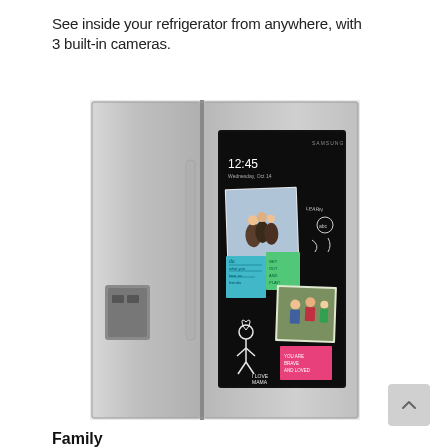See inside your refrigerator from anywhere, with 3 built-in cameras.
[Figure (photo): Samsung side-by-side refrigerator in stainless steel with a large touchscreen Family Hub display on the right door, showing a clock, family photos, sticky notes, and drawings.]
Family